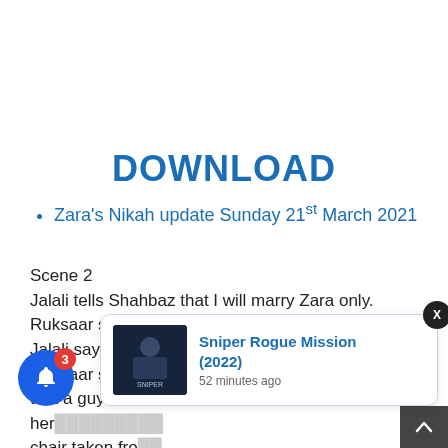DOWNLOAD
Zara's Nikah update Sunday 21st March 2021
Scene 2
Jalali tells Shahbaz that I will marry Zara only. Ruksaar says you can marry me, she is a servant. Jalali says I want to torture her, I want to destroy her. Ruksaar says this is a good idea. She tells Shahbaz that a guy came to see Zara but he sent her … chair taken fro…
[Figure (screenshot): Notification popup for 'Sniper Rogue Mission (2022)' with movie thumbnail and '52 minutes ago' timestamp, plus a close X button, a blue bell notification button with badge count 3, and a scroll-to-top button.]